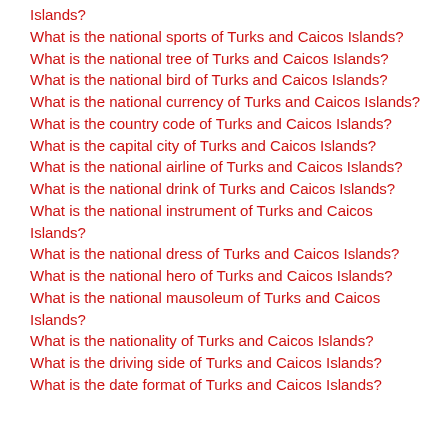Islands?
What is the national sports of Turks and Caicos Islands?
What is the national tree of Turks and Caicos Islands?
What is the national bird of Turks and Caicos Islands?
What is the national currency of Turks and Caicos Islands?
What is the country code of Turks and Caicos Islands?
What is the capital city of Turks and Caicos Islands?
What is the national airline of Turks and Caicos Islands?
What is the national drink of Turks and Caicos Islands?
What is the national instrument of Turks and Caicos Islands?
What is the national dress of Turks and Caicos Islands?
What is the national hero of Turks and Caicos Islands?
What is the national mausoleum of Turks and Caicos Islands?
What is the nationality of Turks and Caicos Islands?
What is the driving side of Turks and Caicos Islands?
What is the date format of Turks and Caicos Islands?